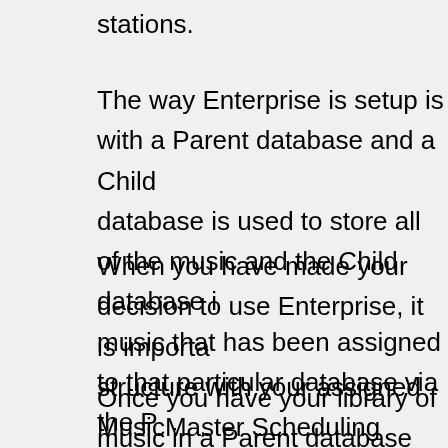stations.
The way Enterprise is setup is with a Parent database and a Child database is used to store all of the music and the Child database music that has been assigned to that particular database via the P would see from this setup would be that data is only entered once and that song can be assigned to several other Child databases.
When you have made your decision to use Enterprise, it is importa structure with your assigned MusicMaster Scheduling Consultant. Child database will benefit greatly by sharing identical database fie assist you with any preliminary questions you may have before us
Once you have your library of music in a Parent database you are database and import music so you can begin scheduling. To conne a Child database, open the Child database and choose Dataset, L screen should look like this: